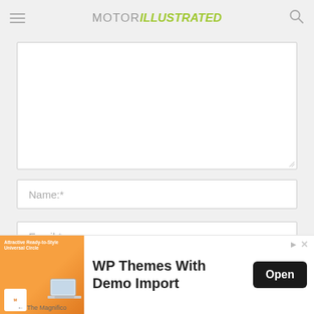MOTOR ILLUSTRATED
[Figure (screenshot): Comment form textarea (empty, white background with resize handle)]
Name:*
Email:*
osite:
[Figure (screenshot): Advertisement banner: WP Themes With Demo Import, with Open button]